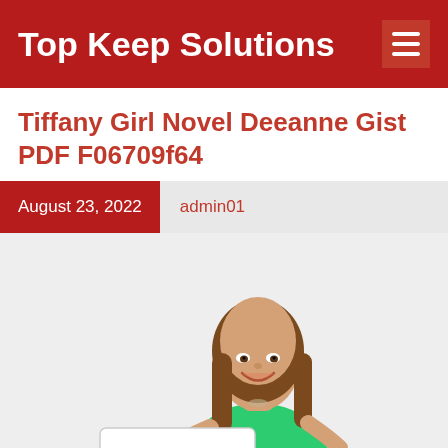Top Keep Solutions
Tiffany Girl Novel Deeanne Gist PDF F06709f64
August 23, 2022   admin01
[Figure (photo): A smiling young woman with long brown hair wearing a green sleeveless top, holding a white sign with green text reading 'OPEN', photographed against a light grey background.]